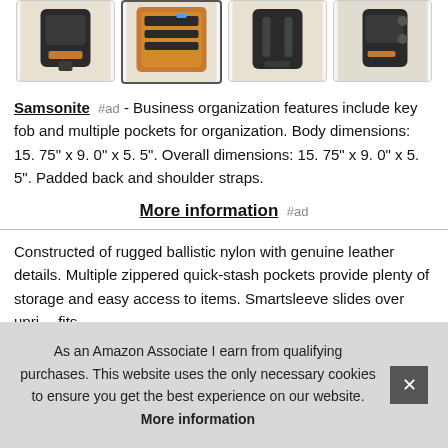[Figure (photo): Four thumbnail images of a Samsonite backpack showing different angles: closed exterior, open interior with wood panel organizer, back view, and side view. Each in a bordered box.]
Samsonite #ad - Business organization features include key fob and multiple pockets for organization. Body dimensions: 15. 75" x 9. 0" x 5. 5". Overall dimensions: 15. 75" x 9. 0" x 5. 5". Padded back and shoulder straps.
More information #ad
Constructed of rugged ballistic nylon with genuine leather details. Multiple zippered quick-stash pockets provide plenty of storage and easy access to items. Smartsleeve slides over upri… fits…
As an Amazon Associate I earn from qualifying purchases. This website uses the only necessary cookies to ensure you get the best experience on our website. More information